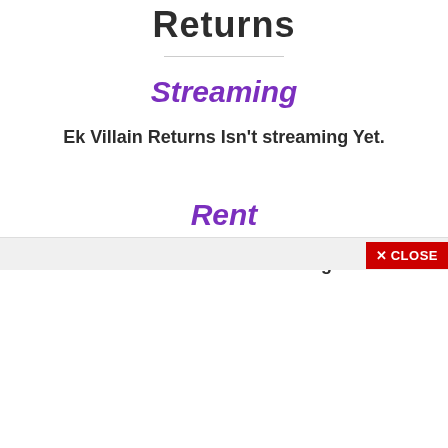Returns
Streaming
Ek Villain Returns Isn't streaming Yet.
Rent
Ek Villain Returns Isn't Streaming on rent.